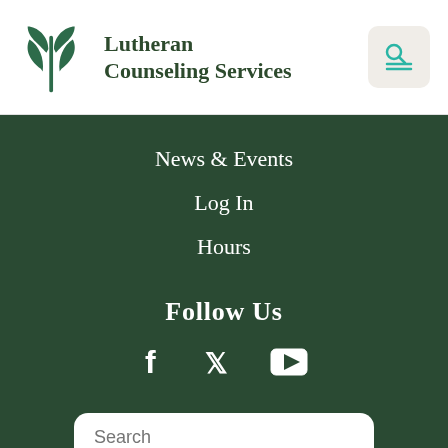[Figure (logo): Lutheran Counseling Services logo with green plant/leaf emblem and text]
News & Events
Log In
Hours
Follow Us
[Figure (infographic): Social media icons: Facebook, Twitter, YouTube]
Search